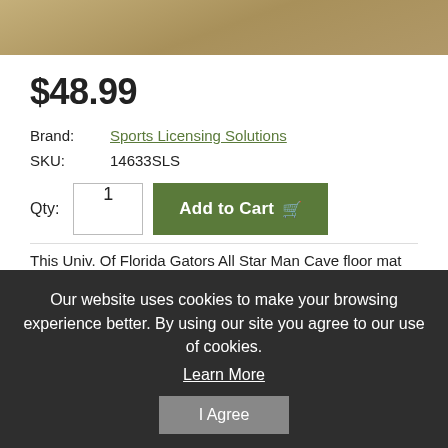[Figure (photo): Product image showing a tan/khaki colored floor mat texture]
$48.99
| Brand: | Sports Licensing Solutions |
| SKU: | 14633SLS |
Qty: 1   Add to Cart
This Univ. Of Florida Gators All Star Man Cave floor mat
Our website uses cookies to make your browsing experience better. By using our site you agree to our use of cookies. Learn More I Agree